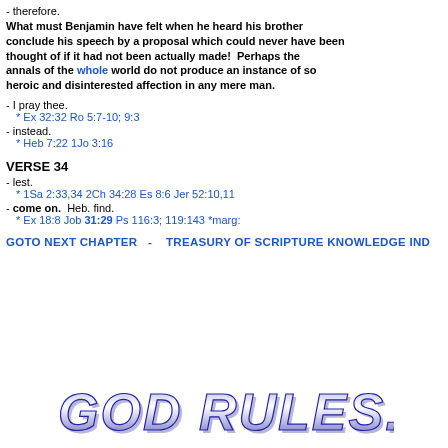- therefore. What must Benjamin have felt when he heard his brother conclude his speech by a proposal which could never have been thought of if it had not been actually made!  Perhaps the annals of the whole world do not produce an instance of so heroic and disinterested affection in any mere man.
- I pray thee.
  * Ex 32:32 Ro 5:7-10; 9:3
- instead.
  * Heb 7:22 1Jo 3:16
VERSE 34
- lest.
  * 1Sa 2:33,34 2Ch 34:28 Es 8:6 Jer 52:10,11
- come on.  Heb. find.
  * Ex 18:8 Job 31:29 Ps 116:3; 119:143 *marg:
GOTO NEXT CHAPTER  -   TREASURY OF SCRIPTURE KNOWLEDGE IND
[Figure (logo): GOD RULES.NET logo in large bold italic blue text with 3D effect]